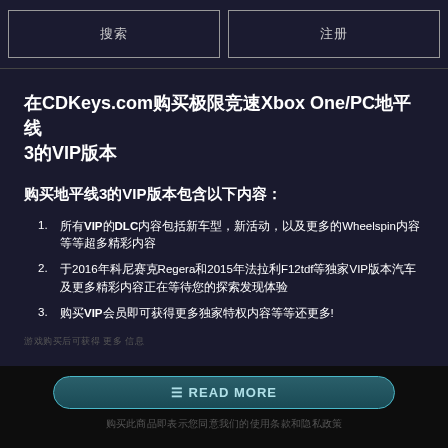搜索  注册
在CDKeys.com购买极限竞速Xbox One/PC地平线3的VIP版本
购买地平线3的VIP版本包含以下内容：
所有VIP的DLC内容包括新车型，新活动，以及更多的Wheelspin内容等等超多精彩内容
于2016年科尼赛克Regera和2015年法拉利F12tdf等独家VIP版本汽车及更多精彩内容正在等待
购买VIP会员即可获得更多独家特权内容等等还更多!
READ MORE
购买此商品即表示您同意我们的使用条款和隐私政策
接受COOKIE US$ 18.39 ME